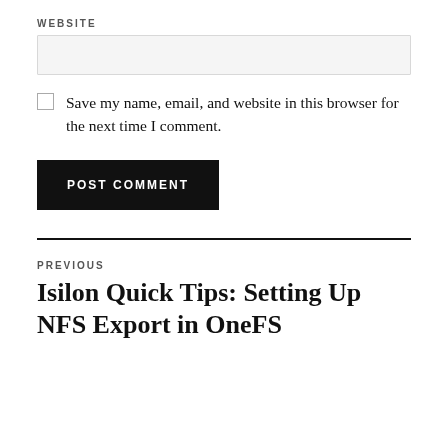WEBSITE
[Figure (other): Empty text input field for website URL]
Save my name, email, and website in this browser for the next time I comment.
POST COMMENT
PREVIOUS
Isilon Quick Tips: Setting Up NFS Export in OneFS